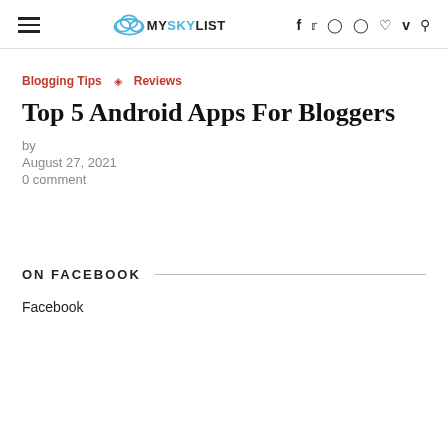MYSKYLIST — navigation header with hamburger menu, logo, and social icons (f, twitter, instagram, pinterest, heart, vimeo, search)
Blogging Tips ◇ Reviews
Top 5 Android Apps For Bloggers
by
August 27, 2021
0 comment
ON FACEBOOK
Facebook